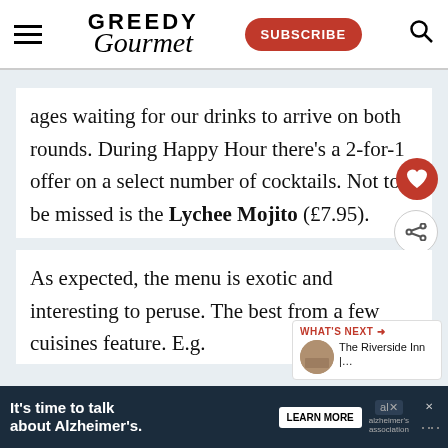GREEDY Gourmet — SUBSCRIBE
ages waiting for our drinks to arrive on both rounds. During Happy Hour there's a 2-for-1 offer on a select number of cocktails. Not to be missed is the Lychee Mojito (£7.95).
As expected, the menu is exotic and interesting to peruse. The best from a few cuisines feature. E.g.
[Figure (infographic): What's Next widget showing The Riverside Inn article thumbnail]
It's time to talk about Alzheimer's. LEARN MORE